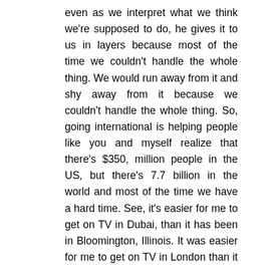even as we interpret what we think we're supposed to do, he gives it to us in layers because most of the time we couldn't handle the whole thing. We would run away from it and shy away from it because we couldn't handle the whole thing. So, going international is helping people like you and myself realize that there's $350, million people in the US, but there's 7.7 billion in the world and most of the time we have a hard time. See, it's easier for me to get on TV in Dubai, than it has been in Bloomington, Illinois. It was easier for me to get on TV in London than it is here because once you leave the country and you're doing something, you automatically become interesting because they want to know what brought you to our country.
What is the issue that you help our people solve? What is your passion? What made you want to come here and help? Like you're interesting! When you just go down to your local news station, they're like, well